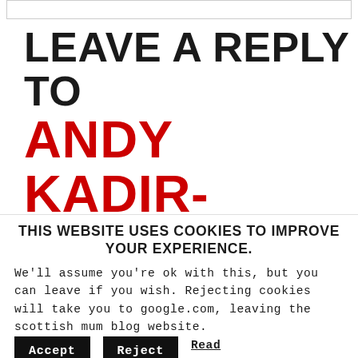LEAVE A REPLY TO ANDY KADIR-BUXTON CANCEL
THIS WEBSITE USES COOKIES TO IMPROVE YOUR EXPERIENCE.
We'll assume you're ok with this, but you can leave if you wish. Rejecting cookies will take you to google.com, leaving the scottish mum blog website.
Accept   Reject   Read More